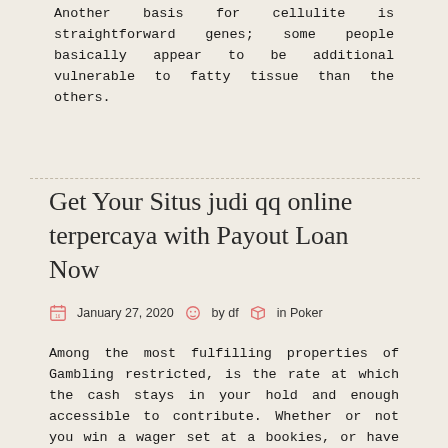Another basis for cellulite is straightforward genes; some people basically appear to be additional vulnerable to fatty tissue than the others.
Get Your Situs judi qq online terpercaya with Payout Loan Now
January 27, 2020  by df  in Poker
Among the most fulfilling properties of Gambling restricted, is the rate at which the cash stays in your hold and enough accessible to contribute. Whether or not you win a wager set at a bookies, or have an OK do at the blackjack tables, those favored position plan and holding up to purchase